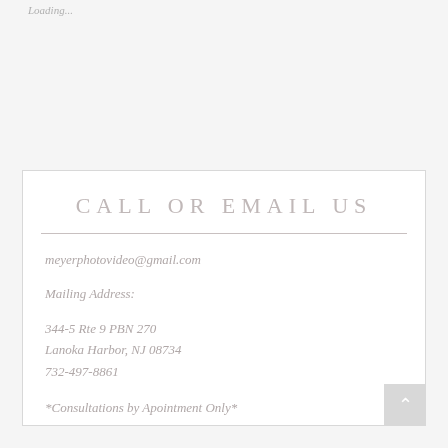Loading...
CALL OR EMAIL US
meyerphotovideo@gmail.com
Mailing Address:
344-5 Rte 9 PBN 270
Lanoka Harbor, NJ 08734
732-497-8861
*Consultations by Apointment Only*